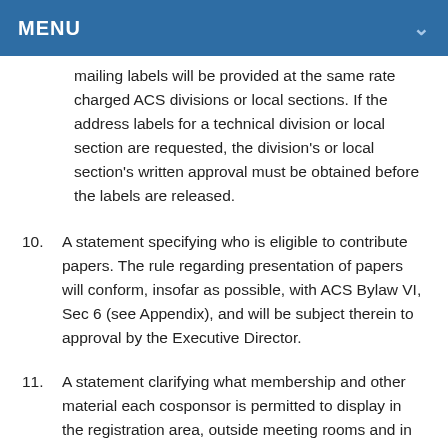MENU
mailing labels will be provided at the same rate charged ACS divisions or local sections. If the address labels for a technical division or local section are requested, the division's or local section's written approval must be obtained before the labels are released.
10. A statement specifying who is eligible to contribute papers. The rule regarding presentation of papers will conform, insofar as possible, with ACS Bylaw VI, Sec 6 (see Appendix), and will be subject therein to approval by the Executive Director.
11. A statement clarifying what membership and other material each cosponsor is permitted to display in the registration area, outside meeting rooms and in other